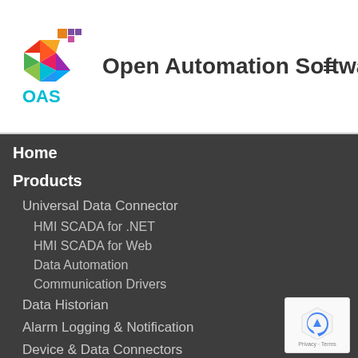[Figure (logo): OAS colorful geometric hexagon logo with OAS text in teal, positioned left of site title]
Open Automation Software
Home
Products
Universal Data Connector
HMI SCADA for .NET
HMI SCADA for Web
Data Automation
Communication Drivers
Data Historian
Alarm Logging & Notification
Device & Data Connectors
IoT Connectors
Developer Tools & APIs
Networking Features
Pricing
About OAS